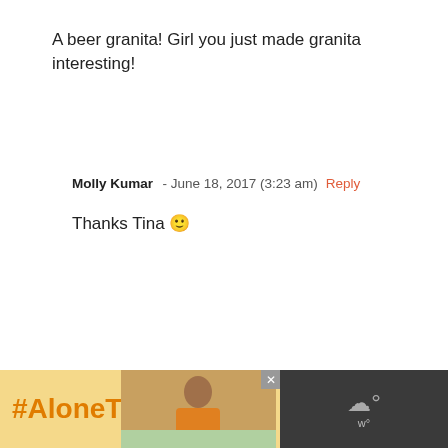A beer granita! Girl you just made granita interesting!
Molly Kumar  - June 18, 2017 (3:23 am)  Reply
Thanks Tina 🙂
Leave a reply
[Figure (screenshot): Comment text input box with placeholder text 'Comment']
[Figure (infographic): Ad banner with #AloneTogether hashtag in orange on yellow background, photo of woman, and dark right panel with weather icon and close buttons]